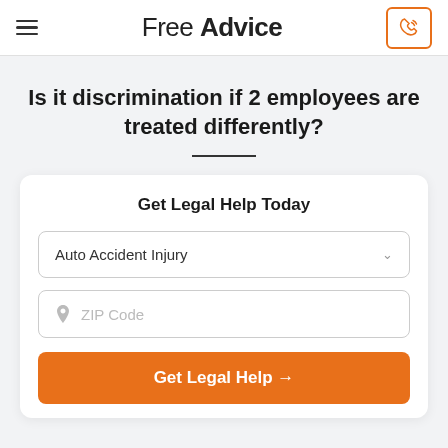Free Advice
Is it discrimination if 2 employees are treated differently?
Get Legal Help Today
Auto Accident Injury
ZIP Code
Get Legal Help →